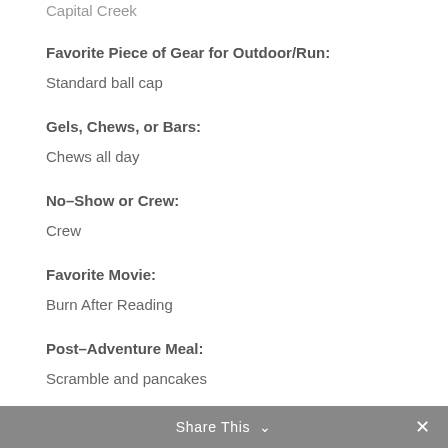Capital Creek
Favorite Piece of Gear for Outdoor/Run:
Standard ball cap
Gels, Chews, or Bars:
Chews all day
No–Show or Crew:
Crew
Favorite Movie:
Burn After Reading
Post–Adventure Meal:
Scramble and pancakes
Share This ∨  ✕